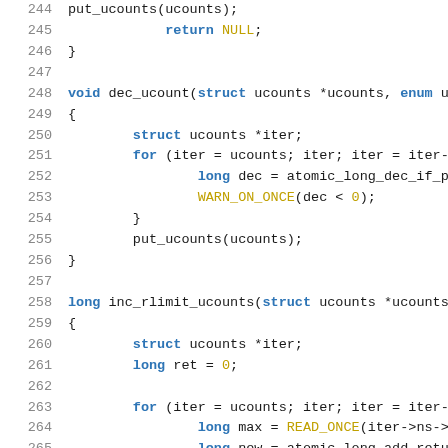Code listing lines 244-265: C source code showing put_ucounts, dec_ucount, and inc_rlimit_ucounts functions